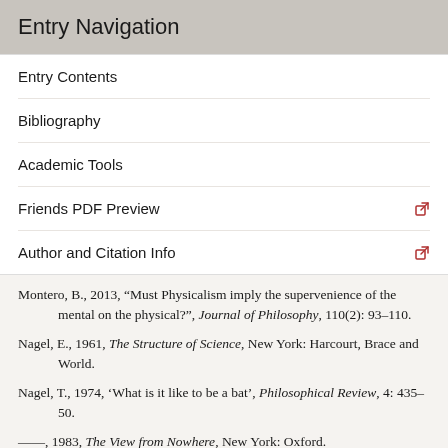Entry Navigation
Entry Contents
Bibliography
Academic Tools
Friends PDF Preview
Author and Citation Info
Montero, B., 2013, “Must Physicalism imply the supervenience of the mental on the physical?”, Journal of Philosophy, 110(2): 93–110.
Nagel, E., 1961, The Structure of Science, New York: Harcourt, Brace and World.
Nagel, T., 1974, ‘What is it like to be a bat’, Philosophical Review, 4: 435–50.
——, 1983, The View from Nowhere, New York: Oxford.
Nemerow, L., 1988, ‘Physicalism and the Cognitive Role of Acquaintance’, in W. Lycan (ed.), Mind and